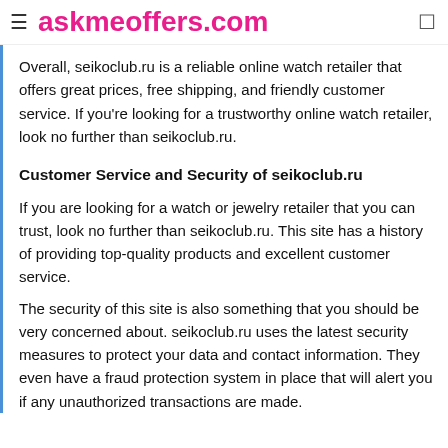askmeoffers.com
Overall, seikoclub.ru is a reliable online watch retailer that offers great prices, free shipping, and friendly customer service. If you're looking for a trustworthy online watch retailer, look no further than seikoclub.ru.
Customer Service and Security of seikoclub.ru
If you are looking for a watch or jewelry retailer that you can trust, look no further than seikoclub.ru. This site has a history of providing top-quality products and excellent customer service.
The security of this site is also something that you should be very concerned about. seikoclub.ru uses the latest security measures to protect your data and contact information. They even have a fraud protection system in place that will alert you if any unauthorized transactions are made.